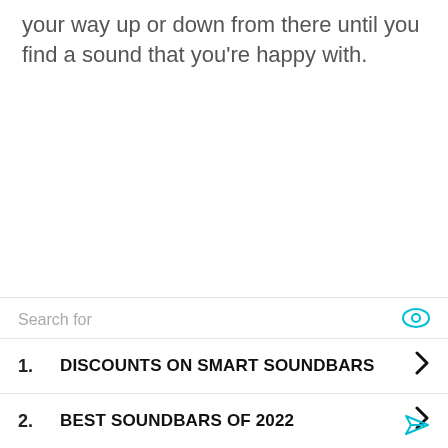your way up or down from there until you find a sound that you're happy with.
1. DISCOUNTS ON SMART SOUNDBARS
2. BEST SOUNDBARS OF 2022